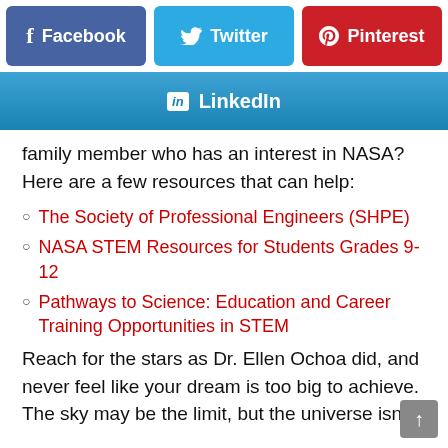[Figure (infographic): Social share buttons: Facebook (purple), Twitter (blue), Pinterest (red) in a row]
[Figure (infographic): LinkedIn share button (blue gradient)]
family member who has an interest in NASA? Here are a few resources that can help:
The Society of Professional Engineers (SHPE)
NASA STEM Resources for Students Grades 9-12
Pathways to Science: Education and Career Training Opportunities in STEM
Reach for the stars as Dr. Ellen Ochoa did, and never feel like your dream is too big to achieve. The sky may be the limit, but the universe isn't.